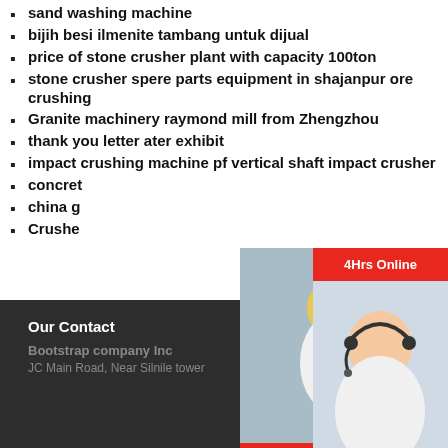sand washing machine
bijih besi ilmenite tambang untuk dijual
price of stone crusher plant with capacity 100ton
stone crusher spere parts equipment in shajanpur ore crushing
Granite machinery raymond mill from Zhengzhou
thank you letter ater exhibit
impact crushing machine pf vertical shaft impact crusher
concrete
china g
Crushe
[Figure (screenshot): Live Chat popup overlay with workers photo, LIVE CHAT text in red, 'Click for a Free Consultation' subtitle, Chat now and Chat later buttons]
[Figure (screenshot): Right side panel showing 24Hrs Online, agent photo, Need questions & suggestion panel with Chat Now button, Enquiry link, and limingjlmofen link]
Our Contact
Bootstrap company Inc
JC Main Road, Near Silnile tower